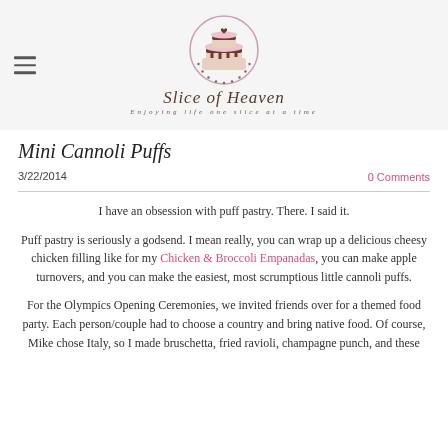[Figure (logo): Slice of Heaven blog logo: a cake with chocolate drizzle inside a circle, with text 'Slice of Heaven' and 'Enjoying life one slice at a time']
Mini Cannoli Puffs
3/22/2014
0 Comments
I have an obsession with puff pastry. There. I said it.
Puff pastry is seriously a godsend. I mean really, you can wrap up a delicious cheesy chicken filling like for my Chicken & Broccoli Empanadas, you can make apple turnovers, and you can make the easiest, most scrumptious little cannoli puffs.
For the Olympics Opening Ceremonies, we invited friends over for a themed food party. Each person/couple had to choose a country and bring native food. Of course, Mike chose Italy, so I made bruschetta, fried ravioli, champagne punch, and these